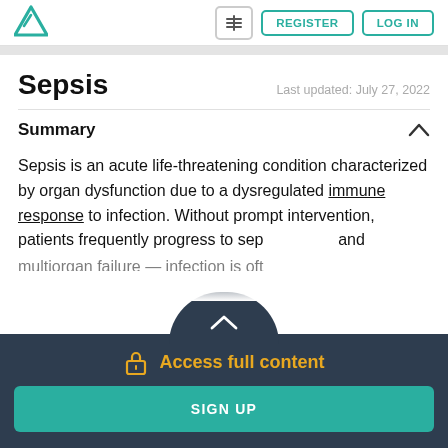[Figure (logo): Teal triangle logo (Amboss)]
Sepsis
Last updated: July 27, 2022
Summary
Sepsis is an acute life-threatening condition characterized by organ dysfunction due to a dysregulated immune response to infection. Without prompt intervention, patients frequently progress to sep... and multi...organ failure...infection is oft...
Access full content
SIGN UP